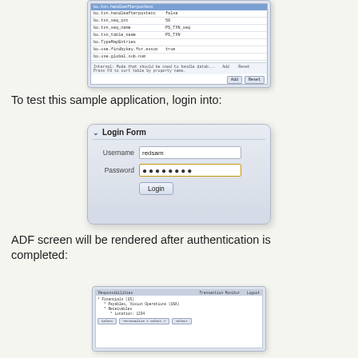[Figure (screenshot): Configuration properties dialog showing bo.txn properties with values like false, 50, PS_TXN_seq, PS_TXN, true, with Add/Reset and OK/Cancel buttons]
To test this sample application, login into:
[Figure (screenshot): Login Form screenshot with Username field showing 'redsam' and Password field showing dots, with Login button]
ADF screen will be rendered after authentication is completed:
[Figure (screenshot): ADF screen rendered after authentication showing application data]